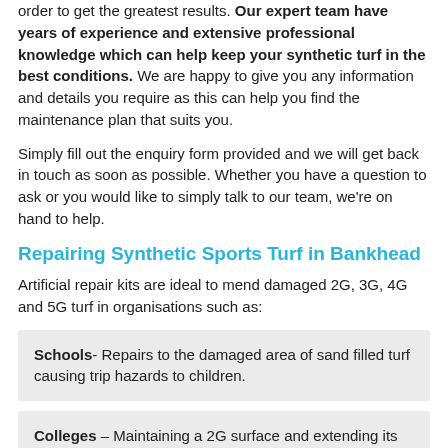order to get the greatest results. Our expert team have years of experience and extensive professional knowledge which can help keep your synthetic turf in the best conditions. We are happy to give you any information and details you require as this can help you find the maintenance plan that suits you.
Simply fill out the enquiry form provided and we will get back in touch as soon as possible. Whether you have a question to ask or you would like to simply talk to our team, we're on hand to help.
Repairing Synthetic Sports Turf in Bankhead
Artificial repair kits are ideal to mend damaged 2G, 3G, 4G and 5G turf in organisations such as:
Schools- Repairs to the damaged area of sand filled turf causing trip hazards to children.
Colleges – Maintaining a 2G surface and extending its life expectancy by conducting repairs.